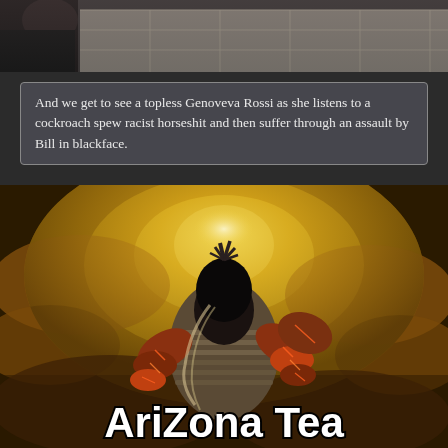[Figure (photo): Top portion showing a room with wood-look floor tiles, partially visible figure at left edge]
And we get to see a topless Genoveva Rossi as she listens to a cockroach spew racist horseshit and then suffer through an assault by Bill in blackface.
[Figure (illustration): Fantasy artwork of an armored figure with glowing lava-cracked armor reaching upward amid golden swirling clouds and light, with text 'AriZona Tea' overlaid at the bottom]